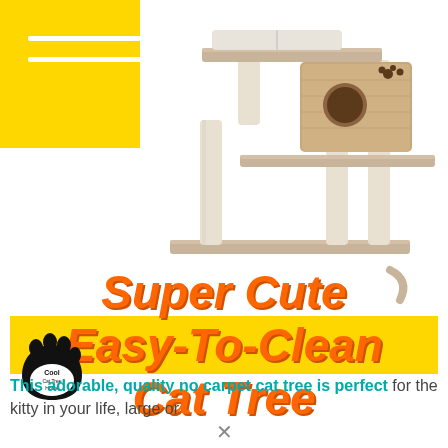[Figure (photo): A cat tree with wooden construction, sisal scratching posts, a top perch/platform, and a cube-shaped condo with circular entrance hole and paw print decorations]
Super Cute Easy-To-Clean Cat Tree
[Figure (logo): Cool Cat Tree Home logo — black paw print with 'Cool Cat Tree Home' text inside]
This adorable, quality no carpet cat tree is perfect for the kitty in your life, large or